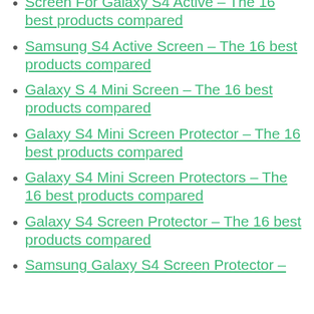Screen For Galaxy S4 Active – The 16 best products compared
Samsung S4 Active Screen – The 16 best products compared
Galaxy S 4 Mini Screen – The 16 best products compared
Galaxy S4 Mini Screen Protector – The 16 best products compared
Galaxy S4 Mini Screen Protectors – The 16 best products compared
Galaxy S4 Screen Protector – The 16 best products compared
Samsung Galaxy S4 Screen Protector –